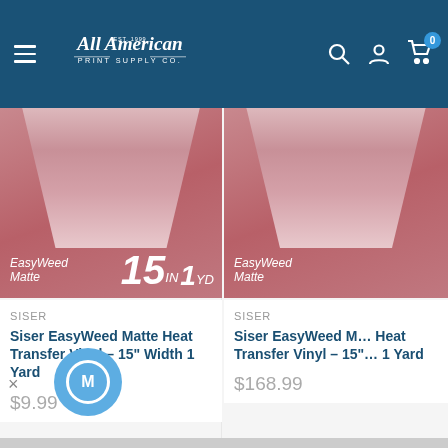All American Print Supply Co. — navigation header with search, account, cart icons
[Figure (photo): Siser EasyWeed Matte Heat Transfer Vinyl product image - 15in 1yd, pink/mauve background with fabric drape]
SISER
Siser EasyWeed Matte Heat Transfer Vinyl – 15" Width 1 Yard
$9.99
[Figure (photo): Siser EasyWeed Matte Heat Transfer Vinyl product image (partial) - pink/mauve background with fabric drape]
SISER
Siser EasyWeed Matte Heat Transfer Vinyl – 15" Width 1 Yard
$168.99
[Figure (illustration): Blue circular chat widget button with M icon, and X close button]